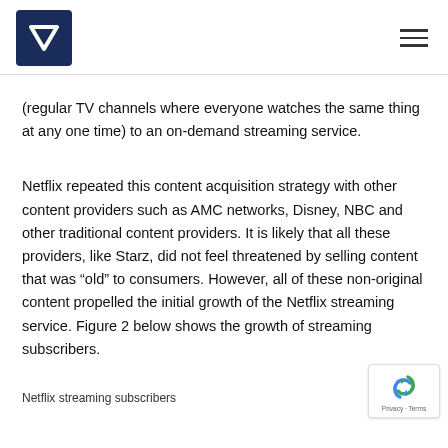V logo and hamburger menu
(regular TV channels where everyone watches the same thing at any one time) to an on-demand streaming service.
Netflix repeated this content acquisition strategy with other content providers such as AMC networks, Disney, NBC and other traditional content providers. It is likely that all these providers, like Starz, did not feel threatened by selling content that was “old” to consumers. However, all of these non-original content propelled the initial growth of the Netflix streaming service. Figure 2 below shows the growth of streaming subscribers.
Netflix streaming subscribers